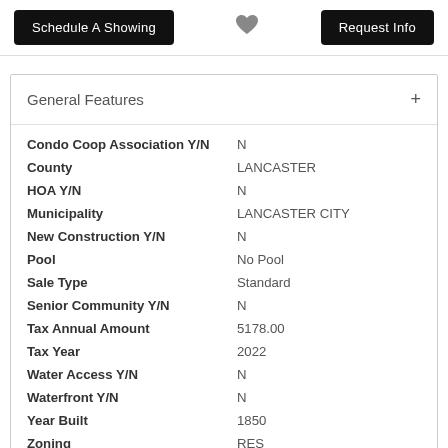[Figure (other): Schedule A Showing button, heart icon, Request Info button]
General Features
| Feature | Value |
| --- | --- |
| Condo Coop Association Y/N | N |
| County | LANCASTER |
| HOA Y/N | N |
| Municipality | LANCASTER CITY |
| New Construction Y/N | N |
| Pool | No Pool |
| Sale Type | Standard |
| Senior Community Y/N | N |
| Tax Annual Amount | 5178.00 |
| Tax Year | 2022 |
| Water Access Y/N | N |
| Waterfront Y/N | N |
| Year Built | 1850 |
| Zoning | RES |